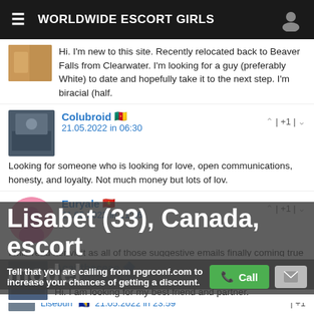WORLDWIDE ESCORT GIRLS
Hi. I'm new to this site. Recently relocated back to Beaver Falls from Clearwater. I'm looking for a guy (preferably White) to date and hopefully take it to the next step. I'm biracial (half.
Colubroid 🇨🇲
21.05.2022 in 06:30
Looking for someone who is looking for love, open communications, honesty, and loyalty. Not much money but lots of lov.
Euryale 🇻🇳
21.05.2022 in 11:16
I mis-read her visit as all of those suggestive emails finally coming true and not as her testing me to see if I was legit, or just a sex maniac. I'm not, but I'm pretty, am across that way.
Lisabet (33), Canada, escort model
Tell that you are calling from rpgrconf.com to increase your chances of getting a discount.
Acanthaceae 🔷
21.05.2022 in 15:39
Hi. I am looking for my best friend and partner.
Lisebuh 🇧🇦
21.05.2022 in 23:59